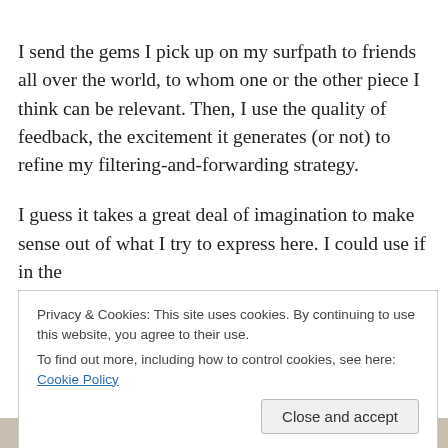I send the gems I pick up on my surfpath to friends all over the world, to whom one or the other piece I think can be relevant. Then, I use the quality of feedback, the excitement it generates (or not) to refine my filtering-and-forwarding strategy.
I guess it takes a great deal of imagination to make sense out of what I try to express here. I could use if in the
Privacy & Cookies: This site uses cookies. By continuing to use this website, you agree to their use.
To find out more, including how to control cookies, see here: Cookie Policy
[Figure (photo): Partial view of a person, bottom strip of image visible at the bottom of the page]